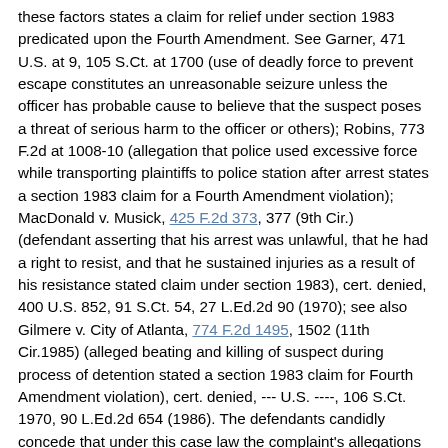these factors states a claim for relief under section 1983 predicated upon the Fourth Amendment. See Garner, 471 U.S. at 9, 105 S.Ct. at 1700 (use of deadly force to prevent escape constitutes an unreasonable seizure unless the officer has probable cause to believe that the suspect poses a threat of serious harm to the officer or others); Robins, 773 F.2d at 1008-10 (allegation that police used excessive force while transporting plaintiffs to police station after arrest states a section 1983 claim for a Fourth Amendment violation); MacDonald v. Musick, 425 F.2d 373, 377 (9th Cir.) (defendant asserting that his arrest was unlawful, that he had a right to resist, and that he sustained injuries as a result of his resistance stated claim under section 1983), cert. denied, 400 U.S. 852, 91 S.Ct. 54, 27 L.Ed.2d 90 (1970); see also Gilmere v. City of Atlanta, 774 F.2d 1495, 1502 (11th Cir.1985) (alleged beating and killing of suspect during process of detention stated a section 1983 claim for Fourth Amendment violation), cert. denied, --- U.S. ----, 106 S.Ct. 1970, 90 L.Ed.2d 654 (1986). The defendants candidly concede that under this case law the complaint's allegations that the decedent was "unarmed and helpless, and in no way posed a threat to the safety of [the officers or] any other persons," Complaint, at p 30, and that the defendants' acts were "unwarranted, cruel, inhuman, unjustifiable, and excessive," id., at p 33, are sufficient to state a claim under the Fourth Amendment. See Appellees' Supplemental